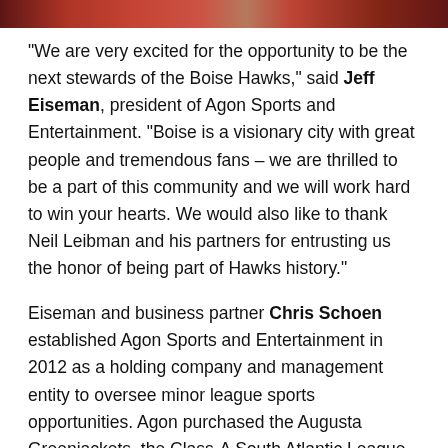[Figure (photo): Partial image strip at the top of the page showing people, cropped.]
“We are very excited for the opportunity to be the next stewards of the Boise Hawks,” said Jeff Eiseman, president of Agon Sports and Entertainment. “Boise is a visionary city with great people and tremendous fans – we are thrilled to be a part of this community and we will work hard to win your hearts. We would also like to thank Neil Leibman and his partners for entrusting us the honor of being part of Hawks history.”
Eiseman and business partner Chris Schoen established Agon Sports and Entertainment in 2012 as a holding company and management entity to oversee minor league sports opportunities. Agon purchased the Augusta Greenjackets, the Class-A South Atlantic League affiliate of the San Francisco Giants, in November of 2012.